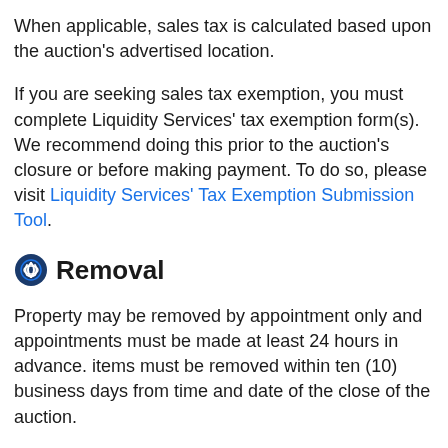When applicable, sales tax is calculated based upon the auction's advertised location.
If you are seeking sales tax exemption, you must complete Liquidity Services' tax exemption form(s). We recommend doing this prior to the auction's closure or before making payment. To do so, please visit Liquidity Services' Tax Exemption Submission Tool.
Removal
Property may be removed by appointment only and appointments must be made at least 24 hours in advance. items must be removed within ten (10) business days from time and date of the close of the auction.
The Buyer will make all arrangements and perform all work